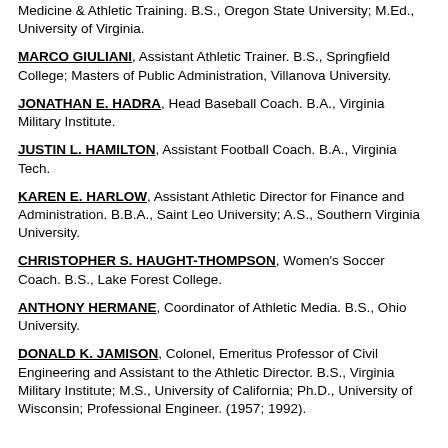Medicine & Athletic Training. B.S., Oregon State University; M.Ed., University of Virginia.
MARCO GIULIANI, Assistant Athletic Trainer. B.S., Springfield College; Masters of Public Administration, Villanova University.
JONATHAN E. HADRA, Head Baseball Coach. B.A., Virginia Military Institute.
JUSTIN L. HAMILTON, Assistant Football Coach. B.A., Virginia Tech.
KAREN E. HARLOW, Assistant Athletic Director for Finance and Administration. B.B.A., Saint Leo University; A.S., Southern Virginia University.
CHRISTOPHER S. HAUGHT-THOMPSON, Women's Soccer Coach. B.S., Lake Forest College.
ANTHONY HERMANE, Coordinator of Athletic Media. B.S., Ohio University.
DONALD K. JAMISON, Colonel, Emeritus Professor of Civil Engineering and Assistant to the Athletic Director. B.S., Virginia Military Institute; M.S., University of California; Ph.D., University of Wisconsin; Professional Engineer. (1957; 1992).